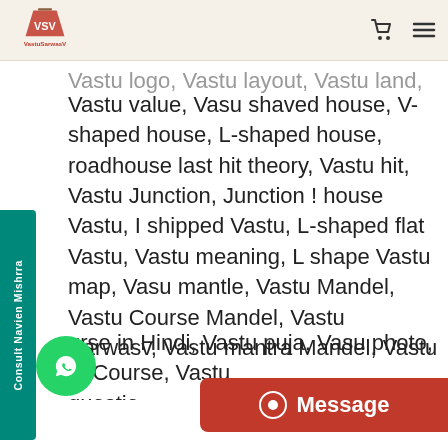VastuSarwasV logo header with cart and menu icons
Vastu logo, Vastu layout, Vastu land, Vastu value, Vasu shaved house, V-shaped house, L-shaped house, roadhouse last hit theory, Vastu hit, Vastu Junction, Junction ! house Vastu, I shipped Vastu, L-shaped flat Vastu, Vastu meaning, L shape Vastu map, Vasu mantle, Vastu Mandel, Vastu Course Mandel, Vastu Sarwasv, Vastu mantra Mandel, Vastu Sarwasv, Vastu and Lakshaya, Vastu and Naresh, Vastu numerology, Numrologist to Vastu, Numrologist, Vastu and Numrologist, Online Vastu, Vastu Course, Vastu and line course, Vastu Guruji, Vasu pyramid, Vastu Client, Vastu plan, Vastu course in Hindi, Vastu puja, Vasu photo, Vastu Course, Vastu questions, Vastu questions and answers, Vastu question